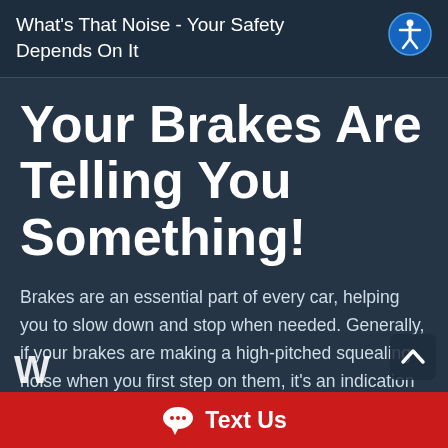What's That Noise - Your Safety Depends On It
Your Brakes Are Telling You Something!
Brakes are an essential part of every car, helping you to slow down and stop when needed. Generally, if your brakes are making a high-pitched squealing noise when you first step on them, it's an indication that the brake pads need to be replaced.
Text Us